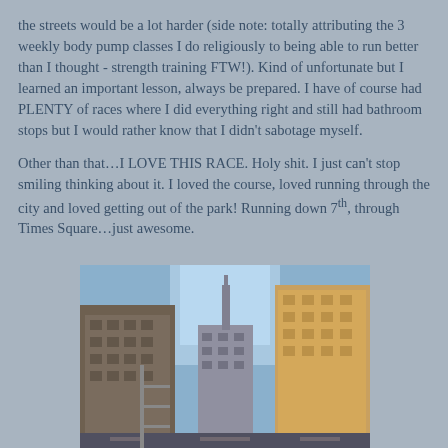the streets would be a lot harder (side note: totally attributing the 3 weekly body pump classes I do religiously to being able to run better than I thought - strength training FTW!). Kind of unfortunate but I learned an important lesson, always be prepared. I have of course had PLENTY of races where I did everything right and still had bathroom stops but I would rather know that I didn't sabotage myself.
Other than that…I LOVE THIS RACE. Holy shit. I just can't stop smiling thinking about it. I loved the course, loved running through the city and loved getting out of the park! Running down 7th, through Times Square…just awesome.
[Figure (photo): Street-level photo looking up between tall city skyscrapers with blue sky visible above, likely New York City.]